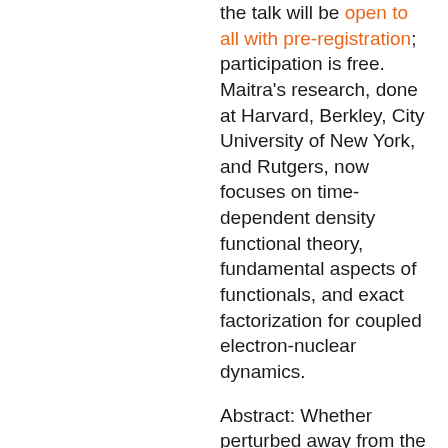the talk will be open to all with pre-registration; participation is free. Maitra's research, done at Harvard, Berkley, City University of New York, and Rutgers, now focuses on time-dependent density functional theory, fundamental aspects of functionals, and exact factorization for coupled electron-nuclear dynamics.
Abstract: Whether perturbed away from the ground state, or driven by either classical or quantized light, the dynamics of molecules involves a complex interplay of electronic